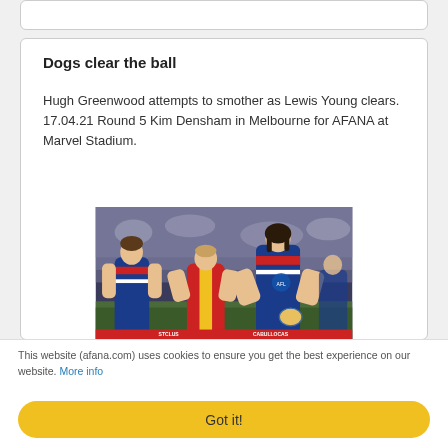Dogs clear the ball
Hugh Greenwood attempts to smother as Lewis Young clears. 17.04.21 Round 5 Kim Densham in Melbourne for AFANA at Marvel Stadium.
[Figure (photo): AFL football action photo: players in Western Bulldogs blue/red/white guernseys and a Gold Coast Suns player in red/yellow contest for the ball at Marvel Stadium with crowd in background.]
This website (afana.com) uses cookies to ensure you get the best experience on our website. More info
Got it!